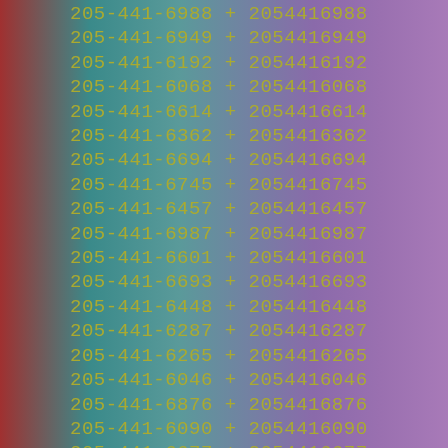205-441-6988 + 2054416988
205-441-6949 + 2054416949
205-441-6192 + 2054416192
205-441-6068 + 2054416068
205-441-6614 + 2054416614
205-441-6362 + 2054416362
205-441-6694 + 2054416694
205-441-6745 + 2054416745
205-441-6457 + 2054416457
205-441-6987 + 2054416987
205-441-6601 + 2054416601
205-441-6693 + 2054416693
205-441-6448 + 2054416448
205-441-6287 + 2054416287
205-441-6265 + 2054416265
205-441-6046 + 2054416046
205-441-6876 + 2054416876
205-441-6090 + 2054416090
205-441-6677 + 2054416677
205-441-6003 + 2054416003
205-441-6722 + 2054416722
205-441-6926 + 2054416926
205-441-6220 + 2054416220